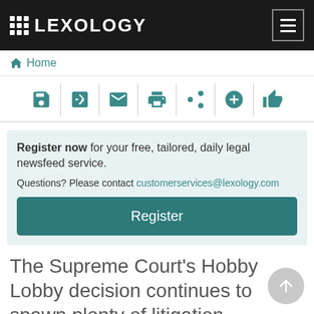LEXOLOGY
Home
[Figure (other): Toolbar with action icons: save, edit/external, email, print, share, add, like]
Register now for your free, tailored, daily legal newsfeed service. Questions? Please contact customerservices@lexology.com Register
The Supreme Court's Hobby Lobby decision continues to spawn plenty of litigation